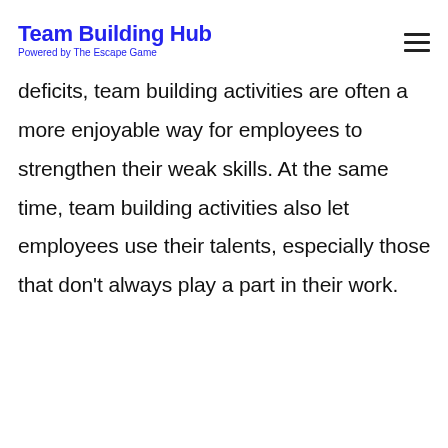Team Building Hub
Powered by The Escape Game
deficits, team building activities are often a more enjoyable way for employees to strengthen their weak skills. At the same time, team building activities also let employees use their talents, especially those that don't always play a part in their work.